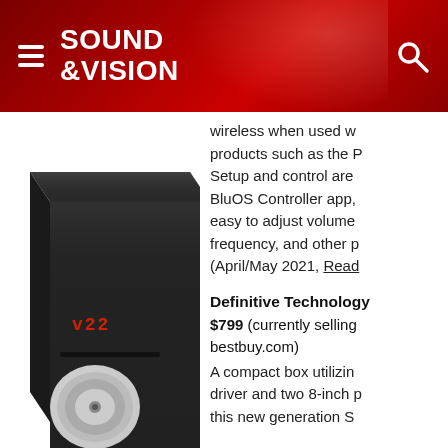Sound & Vision
wireless when used w... products such as the P... Setup and control are BluOS Controller app, easy to adjust volume frequency, and other p... (April/May 2021, Read...
[Figure (photo): A black glossy subwoofer/speaker box with a red LED display showing 'v22' and a disc slot with a CD, photographed at an angle against white background.]
Definitive Technology... $799 (currently selling... bestbuy.com) A compact box utilizin... driver and two 8-inch p... this new generation S...